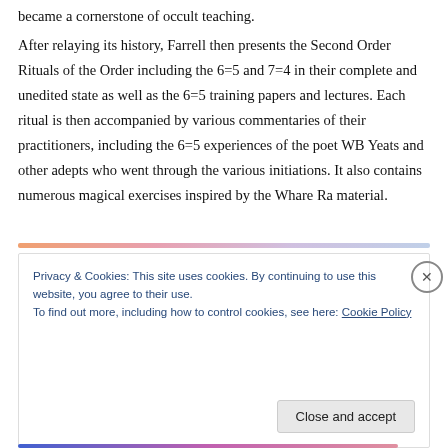became a cornerstone of occult teaching.
After relaying its history, Farrell then presents the Second Order Rituals of the Order including the 6=5 and 7=4 in their complete and unedited state as well as the 6=5 training papers and lectures. Each ritual is then accompanied by various commentaries of their practitioners, including the 6=5 experiences of the poet WB Yeats and other adepts who went through the various initiations. It also contains numerous magical exercises inspired by the Whare Ra material.
Privacy & Cookies: This site uses cookies. By continuing to use this website, you agree to their use.
To find out more, including how to control cookies, see here: Cookie Policy